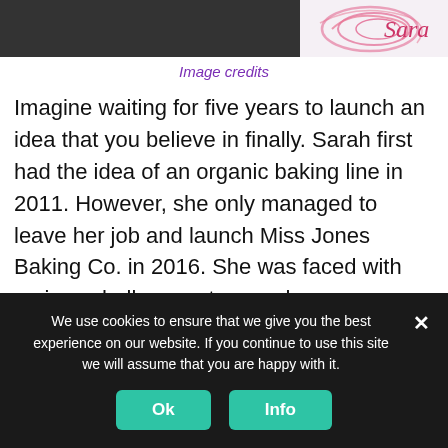[Figure (photo): Top portion of a page showing a cropped photo of a person on the left side and a Sara logo/branding element on the right side with pink swirl graphic]
Image credits
Imagine waiting for five years to launch an idea that you believe in finally. Sarah first had the idea of an organic baking line in 2011. However, she only managed to leave her job and launch Miss Jones Baking Co. in 2016. She was faced with various challenges, too, such as convincing manufacturers to produce frosting using organic and natural ingredients that took another four years. In 2019, her products were sold nationwide by retailers such as Whole Foods, Target, and Fairway, as
We use cookies to ensure that we give you the best experience on our website. If you continue to use this site we will assume that you are happy with it.